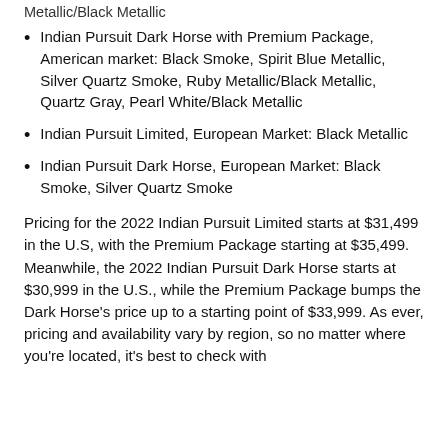Metallic/Black Metallic
Indian Pursuit Dark Horse with Premium Package, American market: Black Smoke, Spirit Blue Metallic, Silver Quartz Smoke, Ruby Metallic/Black Metallic, Quartz Gray, Pearl White/Black Metallic
Indian Pursuit Limited, European Market: Black Metallic
Indian Pursuit Dark Horse, European Market: Black Smoke, Silver Quartz Smoke
Pricing for the 2022 Indian Pursuit Limited starts at $31,499 in the U.S, with the Premium Package starting at $35,499. Meanwhile, the 2022 Indian Pursuit Dark Horse starts at $30,999 in the U.S., while the Premium Package bumps the Dark Horse's price up to a starting point of $33,999. As ever, pricing and availability vary by region, so no matter where you're located, it's best to check with